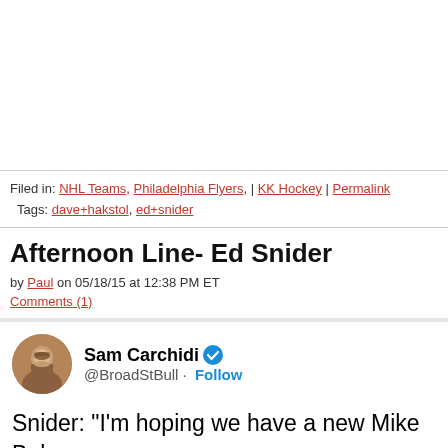Filed in: NHL Teams, Philadelphia Flyers, | KK Hockey | Permalink
Tags: dave+hakstol, ed+snider
Afternoon Line- Ed Snider
by Paul on 05/18/15 at 12:38 PM ET
Comments (1)
[Figure (screenshot): Embedded tweet from @BroadStBull (Sam Carchidi, verified) saying: Snider: "I'm hoping we have a new Mike Babcoc... posted at 4:36 PM · May 18, 2015. Shows 11 likes, Reply, Copy link actions.]